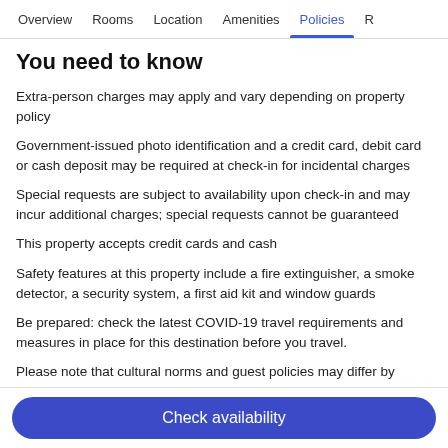Overview  Rooms  Location  Amenities  Policies  R
You need to know
Extra-person charges may apply and vary depending on property policy
Government-issued photo identification and a credit card, debit card or cash deposit may be required at check-in for incidental charges
Special requests are subject to availability upon check-in and may incur additional charges; special requests cannot be guaranteed
This property accepts credit cards and cash
Safety features at this property include a fire extinguisher, a smoke detector, a security system, a first aid kit and window guards
Be prepared: check the latest COVID-19 travel requirements and measures in place for this destination before you travel.
Please note that cultural norms and guest policies may differ by
Check availability